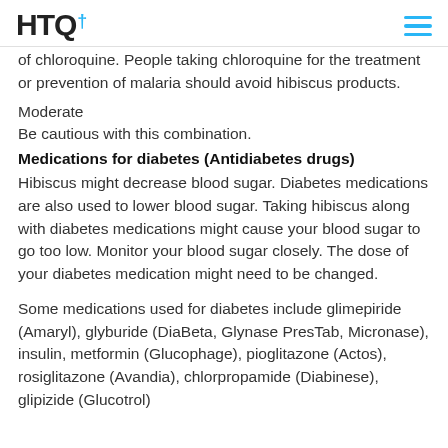HTQ+
of chloroquine. People taking chloroquine for the treatment or prevention of malaria should avoid hibiscus products.
Moderate
Be cautious with this combination.
Medications for diabetes (Antidiabetes drugs)
Hibiscus might decrease blood sugar. Diabetes medications are also used to lower blood sugar. Taking hibiscus along with diabetes medications might cause your blood sugar to go too low. Monitor your blood sugar closely. The dose of your diabetes medication might need to be changed.
Some medications used for diabetes include glimepiride (Amaryl), glyburide (DiaBeta, Glynase PresTab, Micronase), insulin, metformin (Glucophage), pioglitazone (Actos), rosiglitazone (Avandia), chlorpropamide (Diabinese), glipizide (Glucotrol)